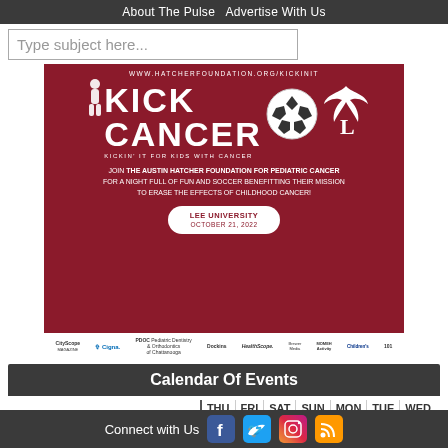About The Pulse  Advertise With Us
Type subject here...
[Figure (illustration): Kick Cancer advertisement for the Austin Hatcher Foundation for Pediatric Cancer. Dark red background with soccer ball, child silhouette, and Lee University logo. Text: WWW.HATCHERFOUNDATION.ORG/KICKINIT, KICK CANCER, KICKIN' IT FOR KIDS WITH CANCER. JOIN THE AUSTIN HATCHER FOUNDATION FOR PEDIATRIC CANCER FOR A NIGHT FULL OF FUN AND SOCCER BENEFITTING THEIR MISSION TO ERASE THE EFFECTS OF CHILDHOOD CANCER! LEE UNIVERSITY OCTOBER 21, 2022. Sponsors: CityScope, Cigna, PDOC Pediatric Dentistry & Orthodontics of Chattanooga, Dockins, HealthScope, Brewer Media, MOMEH Activity, Children's, 101.]
Calendar Of Events
| THU | FRI | SAT | SUN | MON | TUE | WED |
| --- | --- | --- | --- | --- | --- | --- |
Thursday
Connect with Us